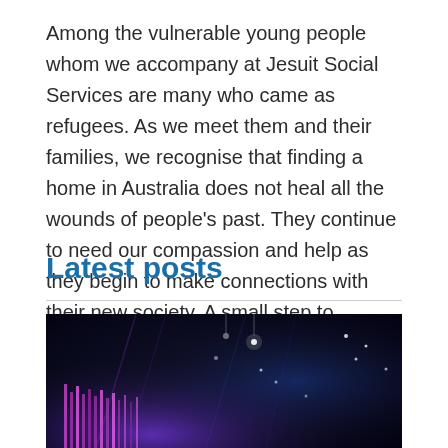Among the vulnerable young people whom we accompany at Jesuit Social Services are many who came as refugees. As we meet them and their families, we recognise that finding a home in Australia does not heal all the wounds of people's past. They continue to need our compassion and help as they begin to make connections with their new society. A small step to building a more just world.
Latest posts
[Figure (photo): Dark concert or event venue photo with purple and blue stage lighting, light beams visible, dark background with scattered light spots]